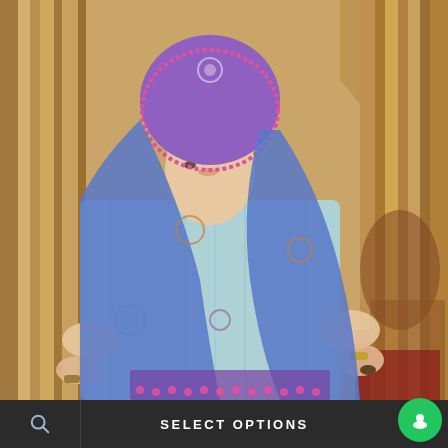[Figure (photo): A woman wearing a blue-purple hijab/dupatta with floral embroidery and pink pom-pom border, and a light blue embroidered traditional outfit (shalwar kameez). She is posed in an interior setting with golden/tan curtains and ornate furniture. She wears a watch and a ring.]
SELECT OPTIONS